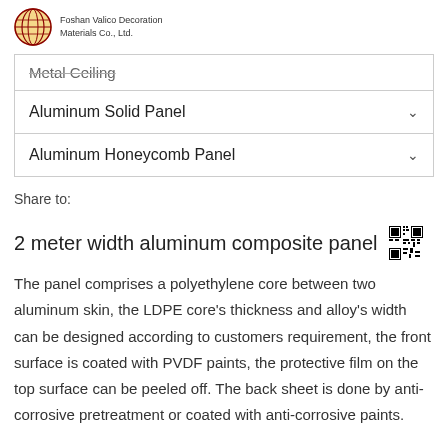Foshan Valico Decoration Materials Co., Ltd.
Metal Ceiling
Aluminum Solid Panel
Aluminum Honeycomb Panel
Share to:
2 meter width aluminum composite panel
The panel comprises a polyethylene core between two aluminum skin, the LDPE core's thickness and alloy's width can be designed according to customers requirement, the front surface is coated with PVDF paints, the protective film on the top surface can be peeled off. The back sheet is done by anti-corrosive pretreatment or coated with anti-corrosive paints.